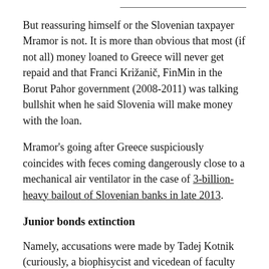But reassuring himself or the Slovenian taxpayer Mramor is not. It is more than obvious that most (if not all) money loaned to Greece will never get repaid and that Franci Križanič, FinMin in the Borut Pahor government (2008-2011) was talking bullshit when he said Slovenia will make money with the loan.
Mramor's going after Greece suspiciously coincides with feces coming dangerously close to a mechanical air ventilator in the case of 3-billion-heavy bailout of Slovenian banks in late 2013.
Junior bonds extinction
Namely, accusations were made by Tadej Kotnik (curiously, a biophisycist and vicedean of faculty of Electrical Engineering) that recapitalization of the